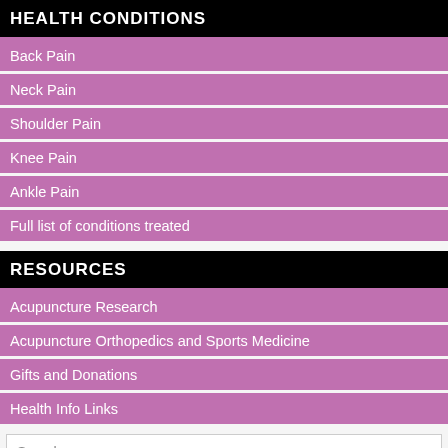HEALTH CONDITIONS
Back Pain
Neck Pain
Shoulder Pain
Knee Pain
Ankle Pain
Full list of conditions treated
RESOURCES
Acupuncture Research
Acupuncture Orthopedics and Sports Medicine
Gifts and Donations
Health Info Links
Search